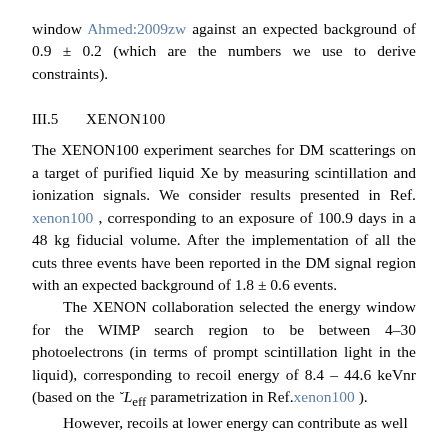window Ahmed:2009zw against an expected background of 0.9 ± 0.2 (which are the numbers we use to derive constraints).
III.5    XENON100
The XENON100 experiment searches for DM scatterings on a target of purified liquid Xe by measuring scintillation and ionization signals. We consider results presented in Ref. xenon100 , corresponding to an exposure of 100.9 days in a 48 kg fiducial volume. After the implementation of all the cuts three events have been reported in the DM signal region with an expected background of 1.8 ± 0.6 events. The XENON collaboration selected the energy window for the WIMP search region to be between 4–30 photoelectrons (in terms of prompt scintillation light in the liquid), corresponding to recoil energy of 8.4 – 44.6 keVnr (based on the L_eff parametrization in Ref.xenon100 ). However, recoils at lower energy can contribute as well